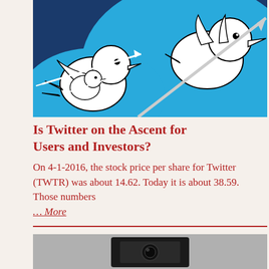[Figure (illustration): Comic-style illustration of stylized white Twitter bird logos pierced by arrows against a blue and dark blue background]
Is Twitter on the Ascent for Users and Investors?
On 4-1-2016, the stock price per share for Twitter (TWTR) was about 14.62. Today it is about 38.59. Those numbers … More
[Figure (photo): Partial photo at bottom of page, appears to show a dark electronic device or camera on grey background]